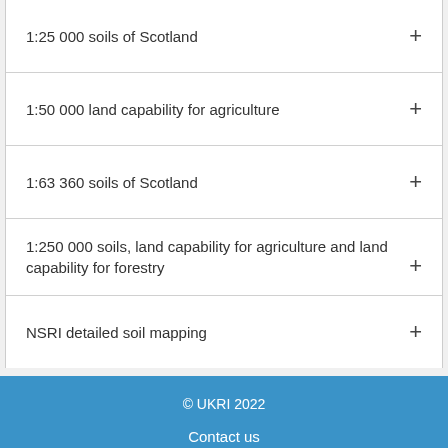1:25 000 soils of Scotland
1:50 000 land capability for agriculture
1:63 360 soils of Scotland
1:250 000 soils, land capability for agriculture and land capability for forestry
NSRI detailed soil mapping
© UKRI 2022
Contact us
Privacy and cookies